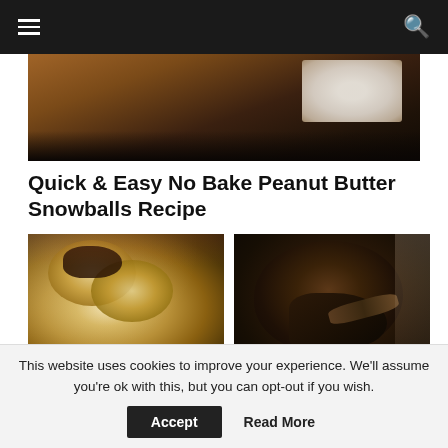Navigation bar with hamburger menu and search icon
[Figure (photo): Close-up photo of peanut butter snowballs in a copper/brown bowl with powdered sugar on top]
Quick & Easy No Bake Peanut Butter Snowballs Recipe
[Figure (photo): Raspberry Pillow Cookies - round cookies with raspberry jam filling, one broken open showing dark filling, on red checkered cloth]
Raspberry Pillow Cookies
[Figure (photo): Peanut Butter Chocolate - dark chocolate lava/molten cake with spoon scooping into it]
Peanut Butter Chocolate
This website uses cookies to improve your experience. We'll assume you're ok with this, but you can opt-out if you wish.